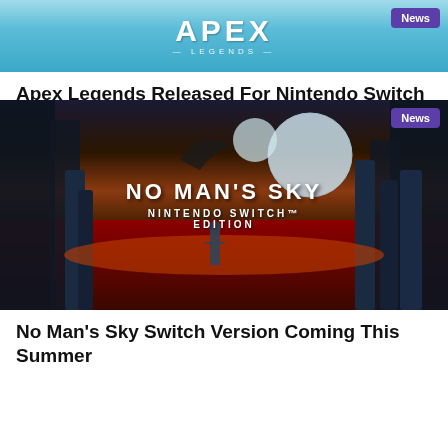[Figure (screenshot): Apex Legends game banner with teal/blue gradient background showing the Apex Legends logo text in white with a 'News' badge in purple in the top right corner]
Apex Legends Released For Nintendo Switch
[Figure (screenshot): No Man's Sky Nintendo Switch Edition promotional image showing an alien landscape with dark blue rock formations, red vegetation, orange sky, a figure standing in the foreground, large planets in the background, and white text reading 'NO MAN'S SKY / NINTENDO SWITCH EDITION'. A 'News' badge appears in the bottom right corner.]
No Man's Sky Switch Version Coming This Summer